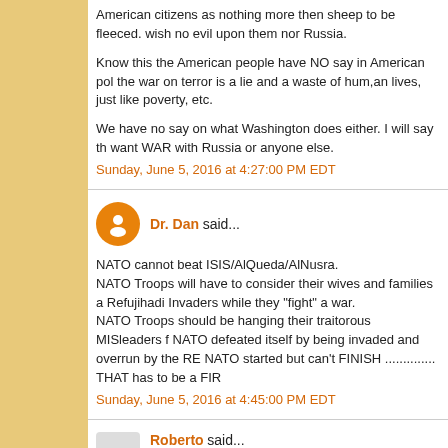American citizens as nothing more then sheep to be fleeced. wish no evil upon them nor Russia.
Know this the American people have NO say in American pol the war on terror is a lie and a waste of hum,an lives, just like poverty, etc.
We have no say on what Washington does either. I will say th want WAR with Russia or anyone else.
Sunday, June 5, 2016 at 4:27:00 PM EDT
Dr. Dan said...
NATO cannot beat ISIS/AlQueda/AlNusra.
NATO Troops will have to consider their wives and families a Refujihadi Invaders while they "fight" a war.
NATO Troops should be hanging their traitorous MISleaders f
NATO defeated itself by being invaded and overrun by the RE
NATO started but can't FINISH .............. THAT has to be a FIR
Sunday, June 5, 2016 at 4:45:00 PM EDT
Roberto said...
What a fun litany of comments to read. Perhaps it is all kabuk sorts. Putin meets with Kissinger, Trump meets with Kissinge the chinese leader meets with Kissinger. All appear somewha terraforming, secret drone space planes buzzing around, mor rumblings.... take your pick for the delusion of the week. All e